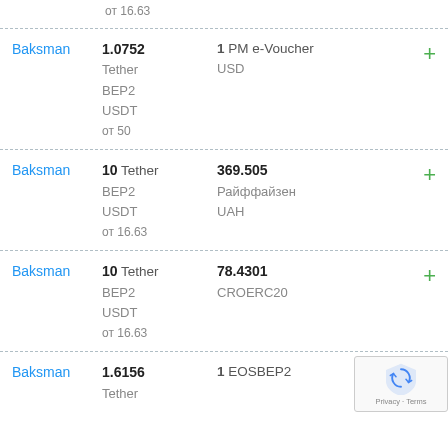от 16.63
| Exchanger | From | To | Action |
| --- | --- | --- | --- |
| Baksman | 1.0752 Tether BEP2 USDT от 50 | 1 PM e-Voucher USD | + |
| Baksman | 10 Tether BEP2 USDT от 16.63 | 369.505 Райффайзен UAH | + |
| Baksman | 10 Tether BEP2 USDT от 16.63 | 78.4301 CROERC20 | + |
| Baksman | 1.6156 Tether | 1 EOSBEP2 | + |